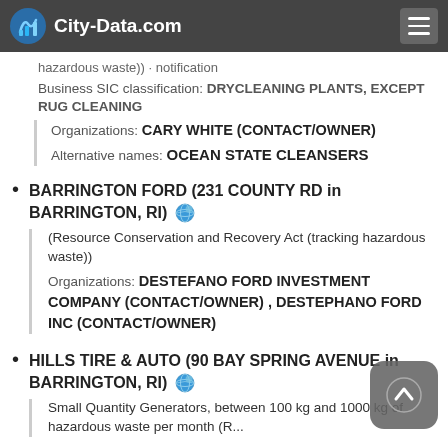City-Data.com
hazardous waste)) · notification
Business SIC classification: DRYCLEANING PLANTS, EXCEPT RUG CLEANING
Organizations: CARY WHITE (CONTACT/OWNER)
Alternative names: OCEAN STATE CLEANSERS
BARRINGTON FORD (231 COUNTY RD in BARRINGTON, RI)
(Resource Conservation and Recovery Act (tracking hazardous waste))
Organizations: DESTEFANO FORD INVESTMENT COMPANY (CONTACT/OWNER) , DESTEPHANO FORD INC (CONTACT/OWNER)
HILLS TIRE & AUTO (90 BAY SPRING AVENUE in BARRINGTON, RI)
Small Quantity Generators, between 100 kg and 1000 kg of hazardous waste per month (R...